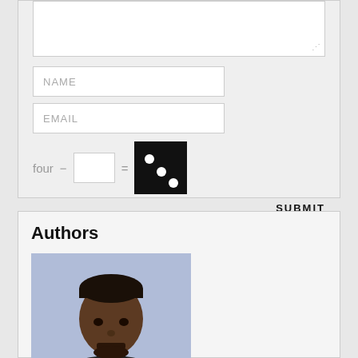[Figure (screenshot): Web form section with a textarea (partially visible at top), NAME input field, EMAIL input field, CAPTCHA row with 'four –' text, blank input, equals sign, and dice image showing three dots, and a SUBMIT button]
Authors
[Figure (photo): Portrait photo of a man with short dark hair and a beard, wearing a dark shirt, against a light blue/grey background]